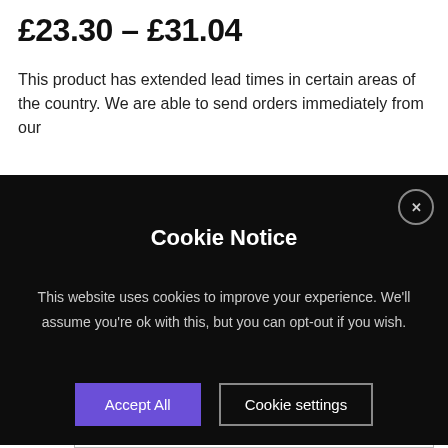£23.30 – £31.04
This product has extended lead times in certain areas of the country. We are able to send orders immediately from our
[Figure (screenshot): Cookie Notice modal dialog with dark background. Contains title 'Cookie Notice', body text about cookies, an 'Accept All' purple button, and a 'Cookie settings' outlined button. Close button (X) in top-right corner.]
select from the shop. Scroll menu to see specification and pricing of each size.
SIZES   Choose an option